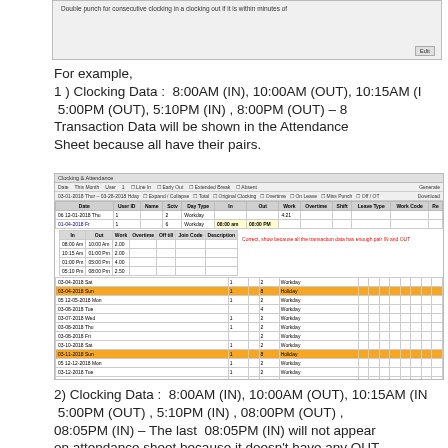[Figure (screenshot): Settings dialog with option: 'Double punch for consecutive clocking in a clocking out if it is within minutes of']
For example,
1 ) Clocking Data :  8:00AM (IN), 10:00AM (OUT), 10:15AM (IN), 5:00PM (OUT), 5:10PM (IN) , 8:00PM (OUT) – 8 Transaction Data will be shown in the Attendance Sheet because all have their pairs.
[Figure (screenshot): Attendance sheet showing clocking data with highlighted rows and inner detail table showing IN/OUT pairs. Annotation: 'Correct, show because all the transaction data has enough pair IN and OUT']
2) Clocking Data :  8:00AM (IN), 10:00AM (OUT), 10:15AM (IN), 5:00PM (OUT) , 5:10PM (IN) , 08:00PM (OUT) , 08:05PM (IN) – The last  08:05PM (IN) will not appear on attendance sheet because it doesn't have any OUT